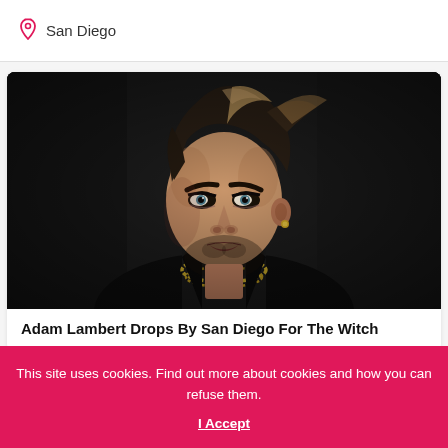San Diego
[Figure (photo): A man with styled dark hair with blonde highlights, wearing a black leather jacket and gold chain necklace, photographed against a dark background. This appears to be Adam Lambert.]
Adam Lambert Drops By San Diego For The Witch
This site uses cookies. Find out more about cookies and how you can refuse them.
I Accept